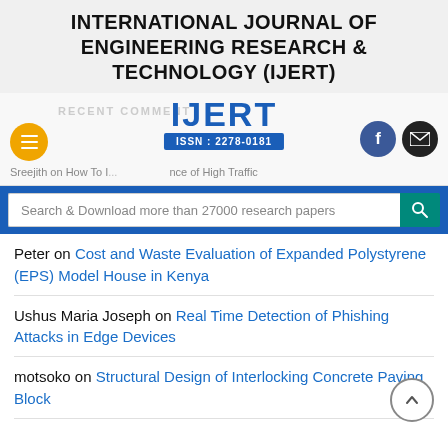INTERNATIONAL JOURNAL OF ENGINEERING RESEARCH & TECHNOLOGY (IJERT)
[Figure (logo): IJERT logo with ISSN: 2278-0181, hamburger menu button, Facebook and email social icons, and recent comments navigation bar]
Search & Download more than 27000 research papers
Peter on Cost and Waste Evaluation of Expanded Polystyrene (EPS) Model House in Kenya
Ushus Maria Joseph on Real Time Detection of Phishing Attacks in Edge Devices
motsoko on Structural Design of Interlocking Concrete Paving Block